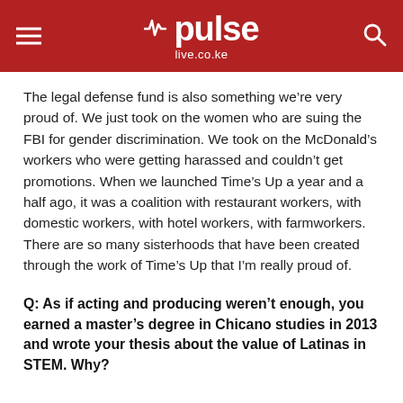pulse live.co.ke
The legal defense fund is also something we’re very proud of. We just took on the women who are suing the FBI for gender discrimination. We took on the McDonald’s workers who were getting harassed and couldn’t get promotions. When we launched Time’s Up a year and a half ago, it was a coalition with restaurant workers, with domestic workers, with hotel workers, with farmworkers. There are so many sisterhoods that have been created through the work of Time’s Up that I’m really proud of.
Q: As if acting and producing weren’t enough, you earned a master’s degree in Chicano studies in 2013 and wrote your thesis about the value of Latinas in STEM. Why?